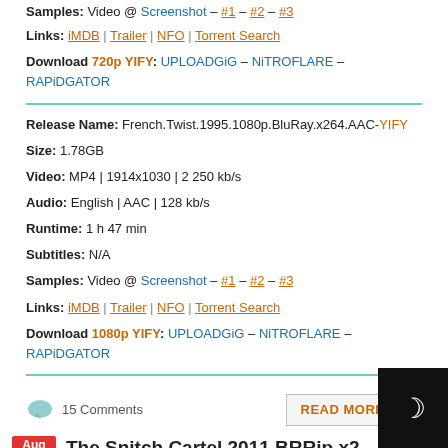Samples: Video @ Screenshot – #1 – #2 – #3
Links: iMDB | Trailer | NFO | Torrent Search
Download 720p YIFY: UPLOADGiG – NiTROFLARE – RAPiDGATOR
Release Name: French.Twist.1995.1080p.BluRay.x264.AAC-YIFY
Size: 1.78GB
Video: MP4 | 1914x1030 | 2 250 kb/s
Audio: English | AAC | 128 kb/s
Runtime: 1 h 47 min
Subtitles: N/A
Samples: Video @ Screenshot – #1 – #2 – #3
Links: iMDB | Trailer | NFO | Torrent Search
Download 1080p YIFY: UPLOADGiG – NiTROFLARE – RAPiDGATOR
15 Comments
READ MORE →
The Snitch Cartel 2011 BRRip x2... VXT